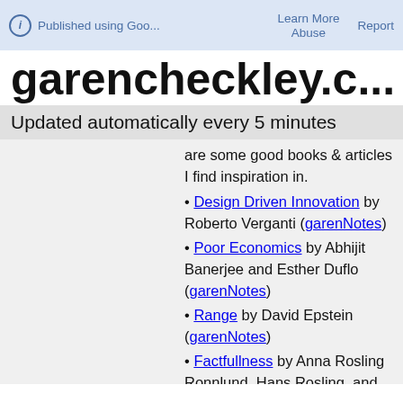Published using Goo... | Learn More | Abuse | Report
garencheckley.c...
Updated automatically every 5 minutes
are some good books & articles I find inspiration in.
Design Driven Innovation by Roberto Verganti (garenNotes)
Poor Economics by Abhijit Banerjee and Esther Duflo (garenNotes)
Range by David Epstein (garenNotes)
Factfullness by Anna Rosling Ronnlund, Hans Rosling, and Ola Rosling (garenNotes)
Why Nations Fail by Daron Acemoglu and James Robinson (garenNotes)
Portfolios of the Poor by...